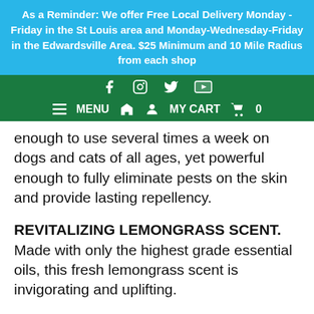As a Reminder: We offer Free Local Delivery Monday - Friday in the St Louis area and Monday-Wednesday-Friday in the Edwardsville Area. $25 Minimum and 10 Mile Radius from each shop
[Figure (screenshot): Navigation bar with social media icons (Facebook, Instagram, Twitter, YouTube) and menu bar with MENU, home icon, account icon, MY CART, cart icon, 0]
enough to use several times a week on dogs and cats of all ages, yet powerful enough to fully eliminate pests on the skin and provide lasting repellency.
REVITALIZING LEMONGRASS SCENT. Made with only the highest grade essential oils, this fresh lemongrass scent is invigorating and uplifting.
100% NATURALLY DERIVED. A safe, natural alternative to flea drops, pills and collars. No artificial colors, fragrances or synthetic pesticides. Made in the USA from human food-grade ingredients and safe around children.